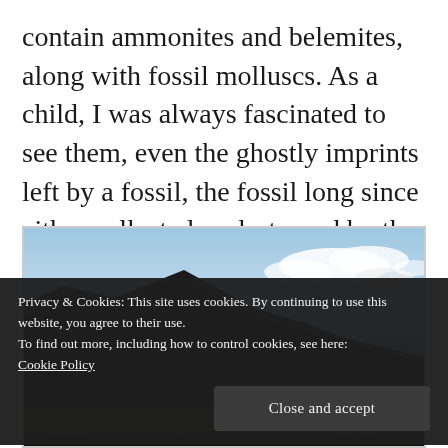contain ammonites and belemites, along with fossil molluscs. As a child, I was always fascinated to see them, even the ghostly imprints left by a fossil, the fossil long since either collected or destroyed by the rolling sands and pebbles in the waves.
[Figure (photo): Coastal scene showing dark cliffs on the left silhouetted against a light blue sky with white clouds, and the sea visible to the right. The bottom of the image shows black and white rocky beach.]
Privacy & Cookies: This site uses cookies. By continuing to use this website, you agree to their use.
To find out more, including how to control cookies, see here:
Cookie Policy
Close and accept